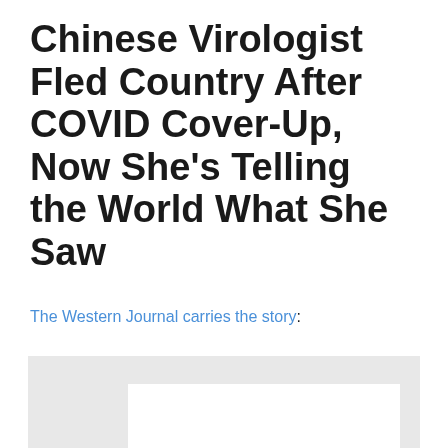Chinese Virologist Fled Country After COVID Cover-Up, Now She's Telling the World What She Saw
The Western Journal carries the story:
[Figure (other): Embedded image placeholder with light gray background and white inner rectangle, partially visible at bottom of page]